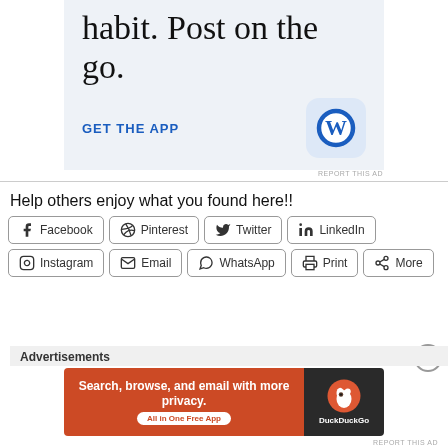[Figure (screenshot): WordPress app advertisement banner with text 'habit. Post on the go.' and a GET THE APP call to action with WordPress icon]
Help others enjoy what you found here!!
Facebook
Pinterest
Twitter
LinkedIn
Instagram
Email
WhatsApp
Print
More
Advertisements
[Figure (screenshot): DuckDuckGo advertisement banner: 'Search, browse, and email with more privacy. All in One Free App']